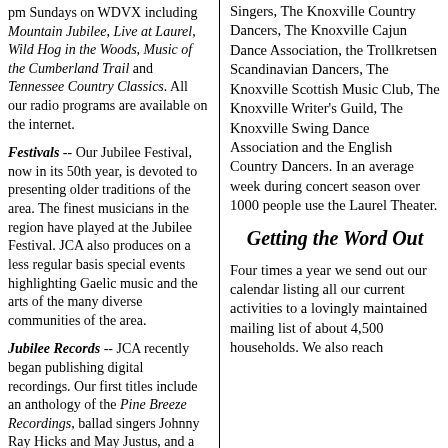pm Sundays on WDVX including Mountain Jubilee, Live at Laurel, Wild Hog in the Woods, Music of the Cumberland Trail and Tennessee Country Classics. All our radio programs are available on the internet.
Festivals -- Our Jubilee Festival, now in its 50th year, is devoted to presenting older traditions of the area. The finest musicians in the region have played at the Jubilee Festival. JCA also produces on a less regular basis special events highlighting Gaelic music and the arts of the many diverse communities of the area.
Jubilee Records -- JCA recently began publishing digital recordings. Our first titles include an anthology of the Pine Breeze Recordings, ballad singers Johnny Ray Hicks and May Justus, and a training CD on area harp singing.
The Fryer Gallery -- In 2000 we
Singers, The Knoxville Country Dancers, The Knoxville Cajun Dance Association, the Trollkretsen Scandinavian Dancers, The Knoxville Scottish Music Club, The Knoxville Writer's Guild, The Knoxville Swing Dance Association and the English Country Dancers. In an average week during concert season over 1000 people use the Laurel Theater.
Getting the Word Out
Four times a year we send out our calendar listing all our current activities to a lovingly maintained mailing list of about 4,500 households. We also reach